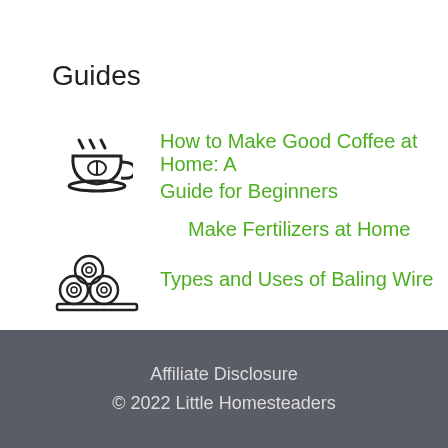Guides
How to Make Good Coffee at Home: A Guide for Beginners
Make Fertilizers at Home
Types and Uses of Baling Wire
Affiliate Disclosure
© 2022 Little Homesteaders